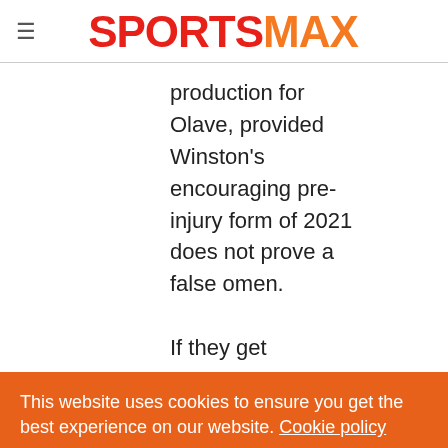SPORTSMAX
production for Olave, provided Winston's encouraging pre-injury form of 2021 does not prove a false omen.

If they get
This website uses cookies to ensure you get the best experience on our website. Cookie policy
Privacy policy
Decline   Allow cookies